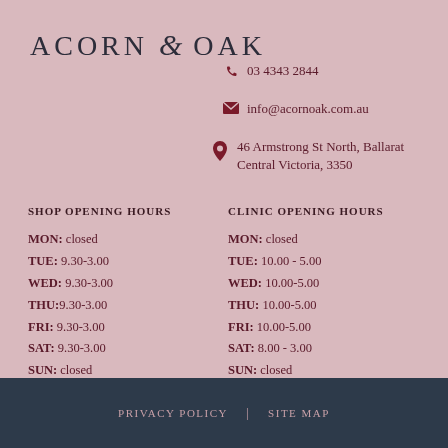ACORN & OAK
03 4343 2844
info@acornoak.com.au
46 Armstrong St North, Ballarat Central Victoria, 3350
SHOP OPENING HOURS
MON: closed
TUE: 9.30-3.00
WED: 9.30-3.00
THU: 9.30-3.00
FRI: 9.30-3.00
SAT: 9.30-3.00
SUN: closed
CLINIC OPENING HOURS
MON: closed
TUE: 10.00 - 5.00
WED: 10.00-5.00
THU:  10.00-5.00
FRI: 10.00-5.00
SAT: 8.00 - 3.00
SUN: closed
PRIVACY POLICY  |  SITE MAP